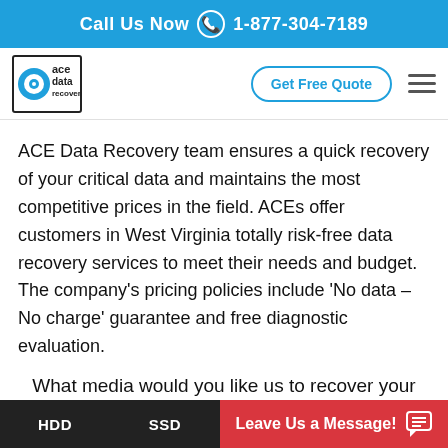Call Us Now 1-877-304-7189
[Figure (logo): ACE Data Recovery logo — stylized hard disk icon with circular target, text reads 'ace data recovery']
ACE Data Recovery team ensures a quick recovery of your critical data and maintains the most competitive prices in the field. ACEs offer customers in West Virginia totally risk-free data recovery services to meet their needs and budget. The company's pricing policies include 'No data – No charge' guarantee and free diagnostic evaluation.
What media would you like us to recover your data from?
HDD   SSD   Leave Us a Message!